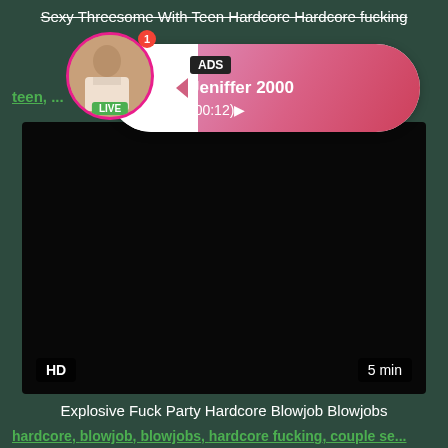Sexy Threesome With Teen Hardcore Hardcore fucking
teen, ... oor...
[Figure (other): Ad overlay with profile photo, LIVE badge, notification badge, ADS label, name Jeniffer 2000, time (00:12)]
[Figure (other): Dark video player block with HD badge and 5 min duration]
Explosive Fuck Party Hardcore Blowjob Blowjobs
hardcore, blowjob, blowjobs, hardcore fucking, couple se...